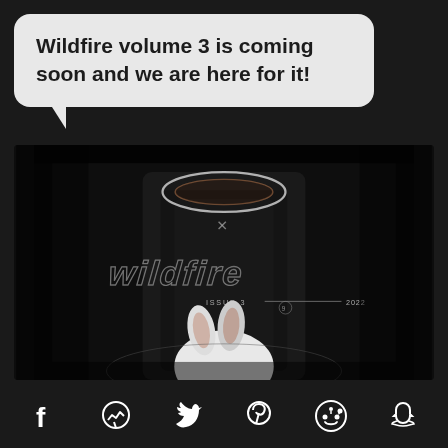Wildfire volume 3 is coming soon and we are here for it!
[Figure (photo): Dark magazine cover for 'Wildfire' Issue 3, 2022. Shows a figure in black clothing with a halo ring above their head (no face visible). The word 'wildfire' is written in graffiti-style lettering across the middle. A white rabbit is visible in the lower portion. Text reads 'ISSUE 3 — 2022'.]
[Figure (other): Social media share bar with icons for Facebook, Messenger, Twitter, Pinterest, Reddit, and Snapchat]